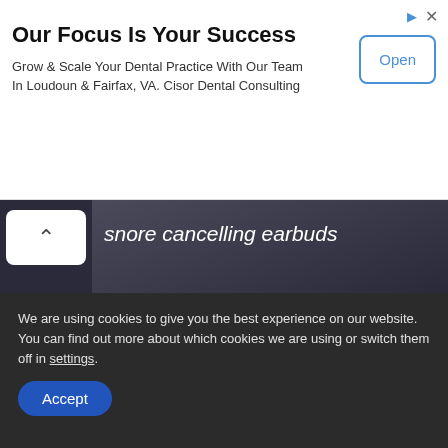Our Focus Is Your Success
Grow & Scale Your Dental Practice With Our Team In Loudoun & Fairfax, VA. Cisor Dental Consulting
[Figure (photo): Advertisement image showing a person sleeping with text 'snore cancelling earbuds' and a 'Buy Now' button on dark background]
RECENT POSTS
Honduras reports dozens of mucormycosis in past year, Many associated to COVID-19
We are using cookies to give you the best experience on our website. You can find out more about which cookies we are using or switch them off in settings.